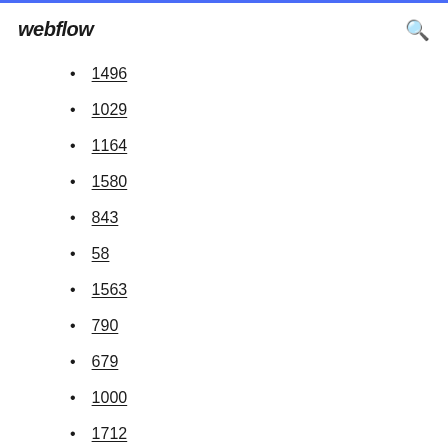webflow
1496
1029
1164
1580
843
58
1563
790
679
1000
1712
1890